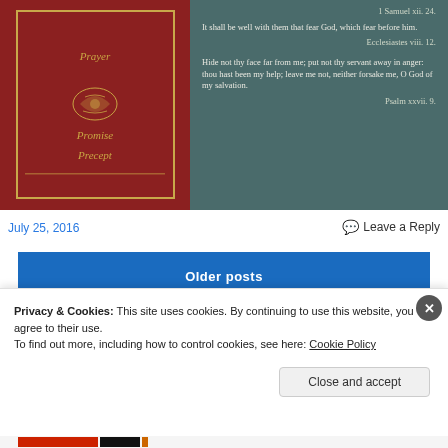[Figure (photo): A photograph showing the cover of a red religious book with gold embossed text reading 'Prayer', 'Promise', 'Precept' and gold floral ornament, alongside a dark teal panel displaying Bible verses: '1 Samuel xii. 24.', 'It shall be well with them that fear God, which fear before him. Ecclesiastes viii. 12.', and 'Hide not thy face far from me; put not thy servant away in anger: thou hast been my help; leave me not, neither forsake me, O God of my salvation. Psalm xxvii. 9.']
July 25, 2016
Leave a Reply
Older posts
Privacy & Cookies: This site uses cookies. By continuing to use this website, you agree to their use.
To find out more, including how to control cookies, see here: Cookie Policy